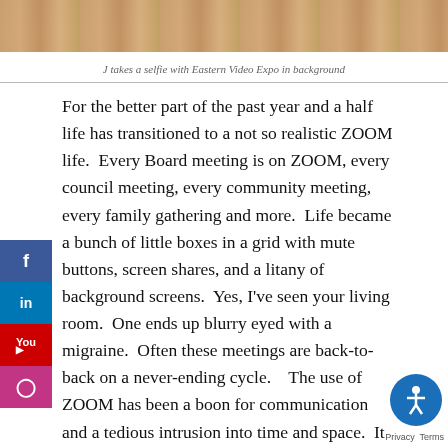[Figure (photo): Partial photo of a person, cropped at top of page, appearing to be an older person taking a selfie]
J takes a selfie with Eastern Video Expo in background
For the better part of the past year and a half life has transitioned to a not so realistic ZOOM life. Every Board meeting is on ZOOM, every council meeting, every community meeting, every family gathering and more. Life became a bunch of little boxes in a grid with mute buttons, screen shares, and a litany of background screens. Yes, I've seen your living room. One ends up blurry eyed with a migraine. Often these meetings are back-to-back on a never-ending cycle. The use of ZOOM has been a boon for communication and a tedious intrusion into time and space. It is also fraught with technical issues, failures, frozen panes, and bad connections. With an average of 5 ZOOM meetings a and sometimes more the experience has been varied